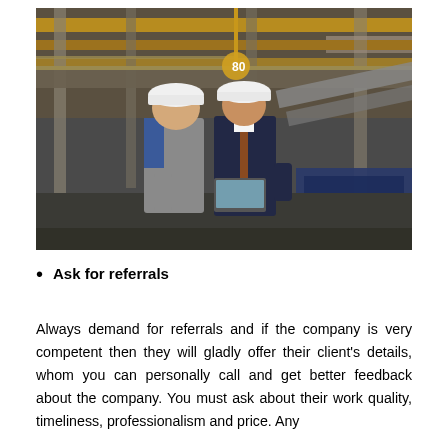[Figure (photo): Two men wearing white hard hats standing in an industrial factory/warehouse setting. One is in a gray work uniform and the other in a dark business suit holding a laptop. Large yellow metal scaffolding and conveyor equipment visible in background.]
Ask for referrals
Always demand for referrals and if the company is very competent then they will gladly offer their client's details, whom you can personally call and get better feedback about the company. You must ask about their work quality, timeliness, professionalism and price. Any